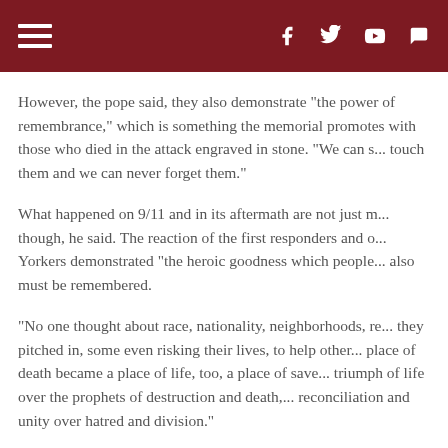Navigation header bar with hamburger menu and social icons (Facebook, Twitter, YouTube, Chat)
However, the pope said, they also demonstrate "the power of remembrance," which is something the memorial promotes with those who died in the attack engraved in stone. "We can s... touch them and we can never forget them."
What happened on 9/11 and in its aftermath are not just m... though, he said. The reaction of the first responders and o... Yorkers demonstrated "the heroic goodness which people... also must be remembered.
"No one thought about race, nationality, neighborhoods, re... they pitched in, some even risking their lives, to help other... place of death became a place of life, too, a place of save... triumph of life over the prophets of destruction and death,... reconciliation and unity over hatred and division."